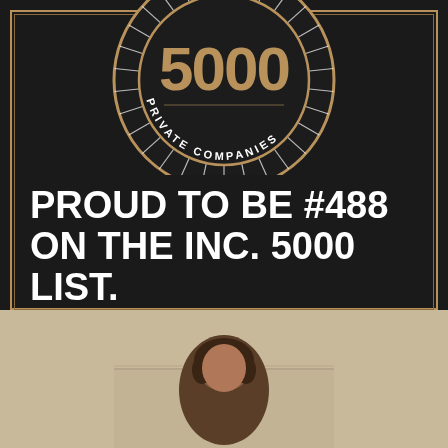[Figure (logo): INC. 5000 Private Companies badge/medallion logo — circular dark badge with '5000' large text, radiating lines, and 'PRIVATE COMPANIES' text around the bottom arc]
PROUD TO BE #488 ON THE INC. 5000 LIST.
[Figure (photo): Partial photo of a person with dark hair, visible from shoulders up, against a light wood-paneled background]